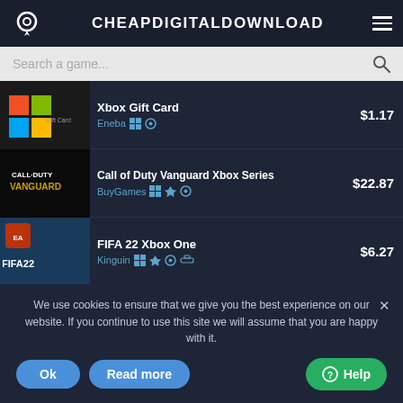CHEAPDIGITALDOWNLOAD
Xbox Gift Card — Eneba — $1.17
Call of Duty Vanguard Xbox Series — BuyGames — $22.87
FIFA 22 Xbox One — Kinguin — $6.27
Battlefield 2042 Xbox Series — BuyGames — $29.17
Xbox Live Gold 12 Months — Kinguin — $0.97
We use cookies to ensure that we give you the best experience on our website. If you continue to use this site we will assume that you are happy with it.